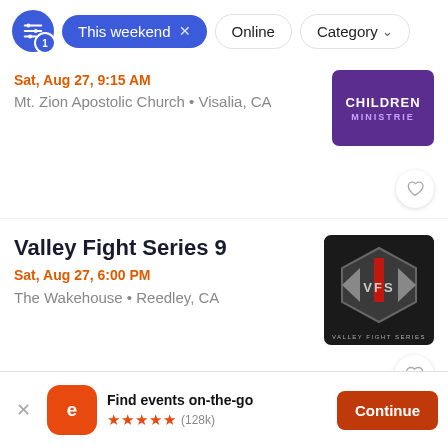Filter bar with: This weekend (active filter), Online, Category
Sat, Aug 27, 9:15 AM · Mt. Zion Apostolic Church • Visalia, CA
Valley Fight Series 9
Sat, Aug 27, 6:00 PM
The Wakehouse • Reedley, CA
Find events on-the-go ★★★★★ (128k) Continue